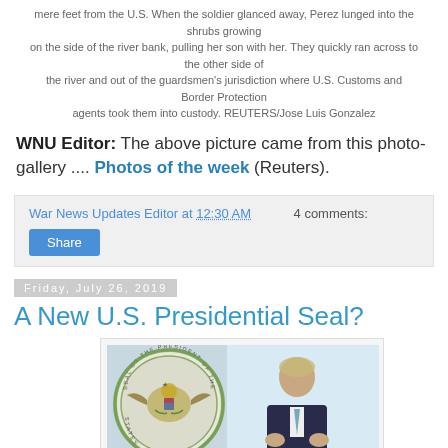mere feet from the U.S. When the soldier glanced away, Perez lunged into the shrubs growing on the side of the river bank, pulling her son with her. They quickly ran across to the other side of the river and out of the guardsmen's jurisdiction where U.S. Customs and Border Protection agents took them into custody. REUTERS/Jose Luis Gonzalez
WNU Editor: The above picture came from this photo-gallery .... Photos of the week (Reuters).
War News Updates Editor at 12:30 AM    4 comments:
Share
Friday, July 26, 2019
A New U.S. Presidential Seal?
[Figure (photo): Photo showing a large U.S. Presidential Seal on the left side and a person (appears to be a man in a dark suit) on the right side, against a light blue background.]